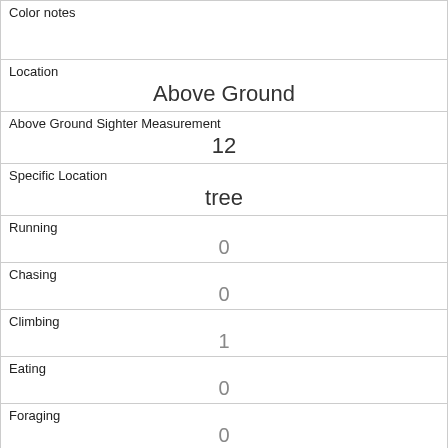| Color notes |  |
| Location | Above Ground |
| Above Ground Sighter Measurement | 12 |
| Specific Location | tree |
| Running | 0 |
| Chasing | 0 |
| Climbing | 1 |
| Eating | 0 |
| Foraging | 0 |
| Other Activities |  |
| Kuks |  |